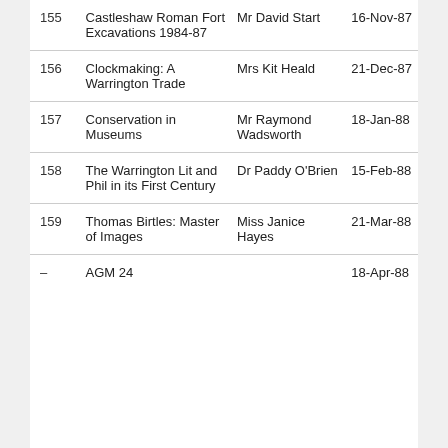| # | Title | Speaker | Date |
| --- | --- | --- | --- |
| 155 | Castleshaw Roman Fort Excavations 1984-87 | Mr David Start | 16-Nov-87 |
| 156 | Clockmaking: A Warrington Trade | Mrs Kit Heald | 21-Dec-87 |
| 157 | Conservation in Museums | Mr Raymond Wadsworth | 18-Jan-88 |
| 158 | The Warrington Lit and Phil in its First Century | Dr Paddy O'Brien | 15-Feb-88 |
| 159 | Thomas Birtles: Master of Images | Miss Janice Hayes | 21-Mar-88 |
| – | AGM 24 |  | 18-Apr-88 |